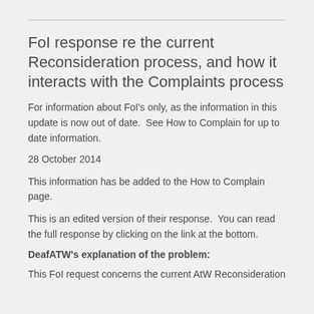FoI response re the current Reconsideration process, and how it interacts with the Complaints process
For information about FoI's only, as the information in this update is now out of date.  See How to Complain for up to date information.
28 October 2014
This information has be added to the How to Complain page.
This is an edited version of their response.  You can read the full response by clicking on the link at the bottom.
DeafATW's explanation of the problem:
This FoI request concerns the current AtW Reconsideration